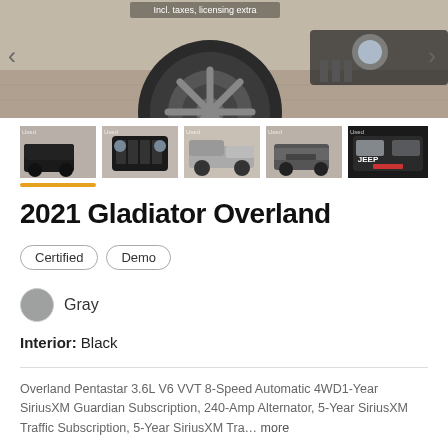[Figure (photo): Main vehicle photo showing Jeep Gladiator wheel and front end, with navigation arrows and 'Incl. taxes, licensing extra' overlay text]
[Figure (photo): Thumbnail 1: Jeep Gladiator front three-quarter view, black]
[Figure (photo): Thumbnail 2: Jeep Gladiator front grille view]
[Figure (photo): Thumbnail 3: Jeep Gladiator side view, silver]
[Figure (photo): Thumbnail 4: Jeep Gladiator rear three-quarter view]
[Figure (photo): Thumbnail 5: Jeep Gladiator rear view]
2021 Gladiator Overland
Certified
Demo
Gray
Interior: Black
Overland Pentastar 3.6L V6 VVT 8-Speed Automatic 4WD1-Year SiriusXM Guardian Subscription, 240-Amp Alternator, 5-Year SiriusXM Traffic Subscription, 5-Year SiriusXM Tra… more